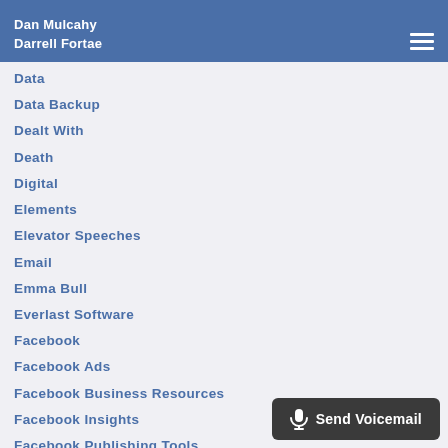Dan Mulcahy
Darrell Fortae
Data
Data Backup
Dealt With
Death
Digital
Elements
Elevator Speeches
Email
Emma Bull
Everlast Software
Facebook
Facebook Ads
Facebook Business Resources
Facebook Insights
Facebook Publishing Tools
Facebook Templates
Fear
Fluctuations
Fluff Bunnies
Send Voicemail